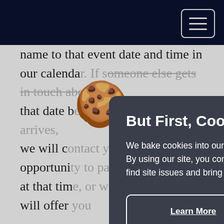name to that event date and time in our calendar. If someone else gets in touch about that date before your payment arrives, we will contact you to give you the opportunity to pay at that time, or we will offer you ...
To reserve ... require a deposit ... for your event (the greater of the two).
[Figure (screenshot): Cookie consent modal dialog with title 'But First, Cookies!', body text about cookie usage, and two buttons: 'Learn More' (outlined) and 'Accept & Continue' (filled white). A cookie emoji appears in the top-left of the modal area.]